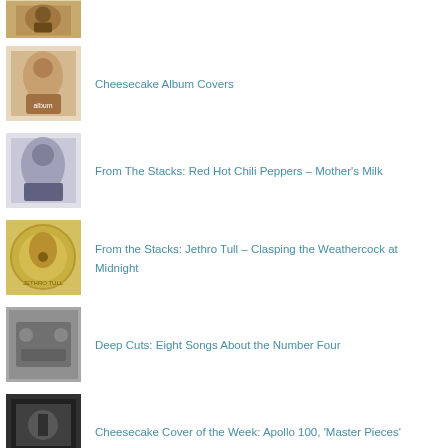(album thumbnail - partial, top cropped)
Cheesecake Album Covers
From The Stacks: Red Hot Chili Peppers – Mother's Milk
From the Stacks: Jethro Tull – Clasping the Weathercock at Midnight
Deep Cuts: Eight Songs About the Number Four
Cheesecake Cover of the Week: Apollo 100, 'Master Pieces'
When Gene Vincent Took A Shot At Gary Glitter
From The Stacks: The Beatles, 'White Album' (White Vinyl)
On Diffuser: Cover Stories – Green Day, 'Dookie'